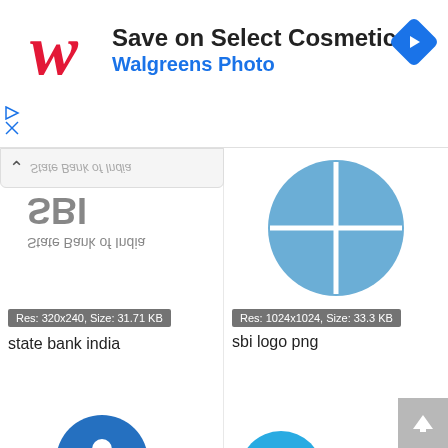[Figure (screenshot): Walgreens Photo advertisement banner: red italic W logo, 'Save on Select Cosmetics' title, 'Walgreens Photo' subtitle in blue, blue diamond navigation icon top right]
[Figure (screenshot): Image search result grid showing SBI (State Bank of India) logos. Top left: mirrored/flipped SBI text logo, Res: 320x240, Size: 31.71 KB, labeled 'state bank india'. Top right: blue circle SBI pie-chart style logo, Res: 1024x1024, Size: 33.3 KB, labeled 'sbi logo png'. Bottom left: blue SBI keyhole logo with 'State Bank of India' text. Bottom right: cyan SBI circle logo with dark blue 'SBI' text.]